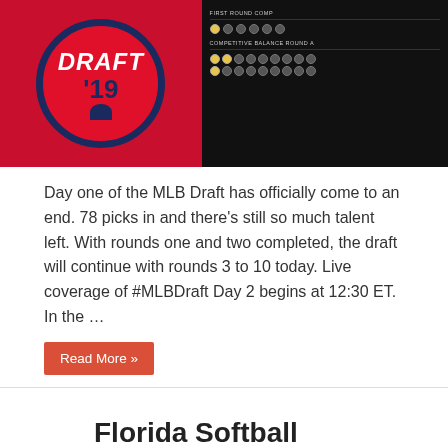[Figure (photo): MLB Draft '19 logo on red circular background alongside a draft board with rounds listed]
Day one of the MLB Draft has officially come to an end. 78 picks in and there's still so much talent left. With rounds one and two completed, the draft will continue with rounds 3 to 10 today. Live coverage of #MLBDraft Day 2 begins at 12:30 ET. In the …
Read More »
Florida Softball Ends Regular Season With SEC Shutout, No-Hitter
May 9, 2016  Feature Sports News, Gators Softball, Gators Sports
[Figure (photo): Florida softball team posing on a baseball/softball field with clay infield and green outfield]